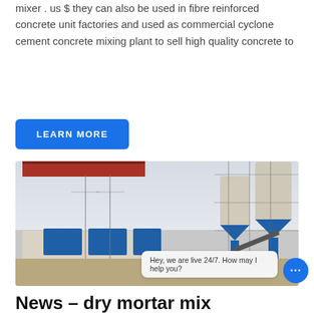mixer . us $ they can also be used in fibre reinforced concrete unit factories and used as commercial cyclone cement concrete mixing plant to sell high quality concrete to
[Figure (other): Button labeled LEARN MORE in white bold text on a blue rounded rectangle background]
[Figure (photo): Photograph of a commercial concrete mixing plant with two large cylindrical silos on blue steel frames, blue aggregate hoppers in the foreground, a red-roofed building to the left, and a conveyor belt system, set against an overcast sky.]
Hey, we are live 24/7. How may I help you?
News – dry mortar mix